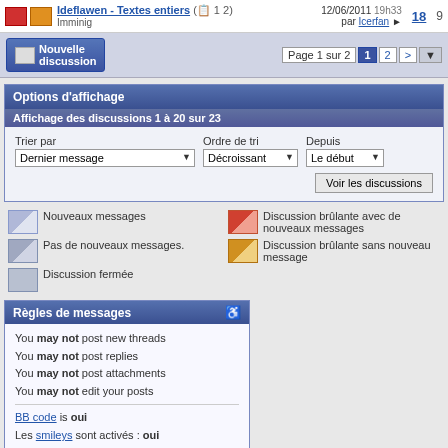Ideflawen - Textes entiers (1 2) Imminig — 12/06/2011 19h33 par Icerfan — 18 — 9
Nouvelle discussion — Page 1 sur 2  1  2  >
Options d'affichage
Affichage des discussions 1 à 20 sur 23
Trier par: Dernier message | Ordre de tri: Décroissant | Depuis: Le début
Voir les discussions
Nouveaux messages
Discussion brûlante avec de nouveaux messages
Pas de nouveaux messages.
Discussion brûlante sans nouveau message
Discussion fermée
Règles de messages
You may not post new threads
You may not post replies
You may not post attachments
You may not edit your posts
BB code is oui
Les smileys sont activés : oui
La balise [IMG] est activée : oui